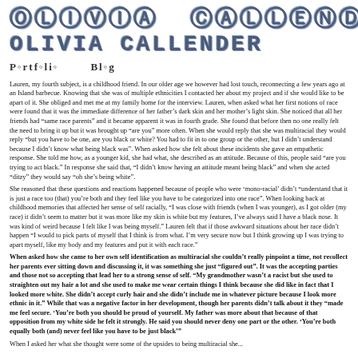OLIVIA CALLENDER
Portfolio   Blog
Lauren, my fourth subject, is a childhood friend. In our older age we however had lost touch, reconnecting a few years ago at an Island barbecue. Knowing that she was of multiple ethnicities I contacted her about my project and if she would like to be apart of it. She obliged and met me at my family home for the interview. Lauren, when asked what her first notions of race were found that it was the immediate difference of her father’s dark skin and her mother’s light skin. She noticed that all her friends had “same race parents” and it became apparent it was in fourth grade. She found that before then no one really felt the need to bring it up but it was brought up “are you” more often. When she would reply that she was multiracial they would reply “but you have to be one, are you black or white? You had to fit in to one group or the other, but I didn’t understand because I didn’t know what being black was”. When asked how she felt about these incidents she gave an empathetic response. She told me how, as a younger kid, she had what, she described as an attitude. Because of this, people said “are you trying to act black.” In response she said that, “I didn’t know having an attitude meant being black” and when she acted “ditzy” they would say “oh she’s being white”.
She reasoned that these questions and reactions happened because of people who were ‘mono-racial’ didn’t “understand that it is just a race too (that) you’re both and they feel like you have to be categorized into one race”. When looking back at childhood memories that affected her sense of self racially, “I was close with friends (when I was younger), as I got older (my race) it didn’t seem to matter but it was more like my skin is white but my features, I’ve always said I have a black nose. It was kind of weird because I felt like I was being myself.” Lauren felt that if those awkward situations about her race didn’t happen “I would to pick parts of myself that I think is from what. I’m very secure now but I think growing up I was trying to apart myself, like my body and my features and put it with each race.”
When asked how she came to her own self identification as multiracial she couldn’t really pinpoint a time, not recollect her parents ever sitting down and discussing it, it was something she just “figured out”. It was the accepting parties and those not so accepting that lead her to a strong sense of self. “My grandmother wasn’t a racist but she used to straighten out my hair a lot and she used to make me wear certain things I think because she did like in fact that I looked more white. She didn’t accept curly hair and she didn’t include me in whatever picture because I look more ethnic in it.” While that was a negative factor in her development, though her parents didn’t talk about it they “made me feel secure. ‘You’re both you should be proud of yourself. My father was more about that because of that opposition from my white side he felt it strongly. He said you should never deny one part or the other. ‘You’re both equally both (and) never feel like you have to be just black’”
When I asked her what she thought were some of the upsides to being multiracial she...